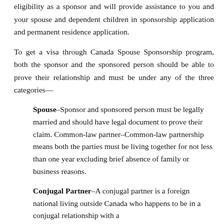eligibility as a sponsor and will provide assistance to you and your spouse and dependent children in sponsorship application and permanent residence application.
To get a visa through Canada Spouse Sponsorship program, both the sponsor and the sponsored person should be able to prove their relationship and must be under any of the three categories—
Spouse–Sponsor and sponsored person must be legally married and should have legal document to prove their claim. Common-law partner–Common-law partnership means both the parties must be living together for not less than one year excluding brief absence of family or business reasons.
Conjugal Partner–A conjugal partner is a foreign national living outside Canada who happens to be in a conjugal relationship with a